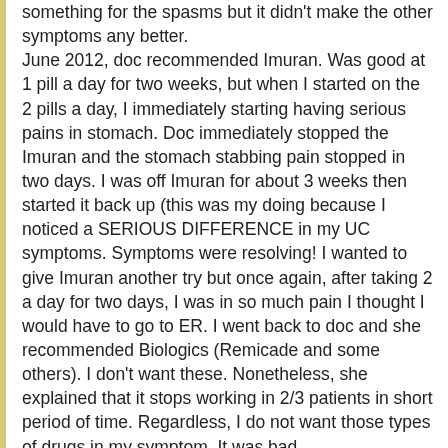something for the spasms but it didn't make the other symptoms any better. June 2012, doc recommended Imuran. Was good at 1 pill a day for two weeks, but when I started on the 2 pills a day, I immediately starting having serious pains in stomach. Doc immediately stopped the Imuran and the stomach stabbing pain stopped in two days. I was off Imuran for about 3 weeks then started it back up (this was my doing because I noticed a SERIOUS DIFFERENCE in my UC symptoms. Symptoms were resolving! I wanted to give Imuran another try but once again, after taking 2 a day for two days, I was in so much pain I thought I would have to go to ER. I went back to doc and she recommended Biologics (Remicade and some others). I don't want these. Nonetheless, she explained that it stops working in 2/3 patients in short period of time. Regardless, I do not want those types of drugs in my symptom. It was bad